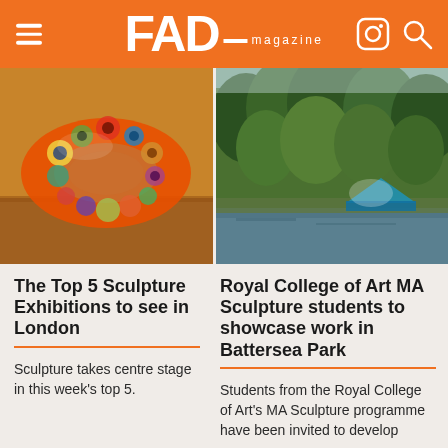Related Posts
FAD magazine
[Figure (photo): Close-up of a colourful ceramic or textile snake sculpture in orange, green and white with circular patterns, on a wooden surface]
[Figure (photo): Outdoor garden/park scene with green trees and a reflective pool or water feature, with a blue tent-like structure in the foreground]
The Top 5 Sculpture Exhibitions to see in London
Sculpture takes centre stage in this week's top 5.
Royal College of Art MA Sculpture students to showcase work in Battersea Park
Students from the Royal College of Art's MA Sculpture programme have been invited to develop